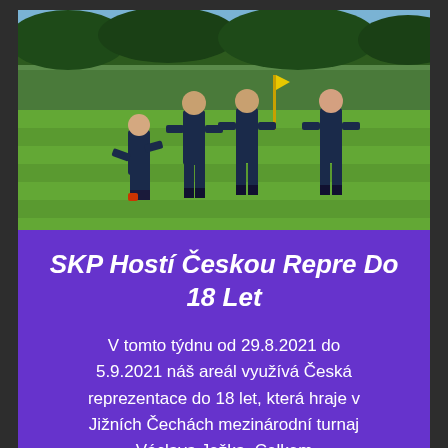[Figure (photo): Young football players in dark blue uniforms training on a green grass pitch. Five players are visible, some bending down and others standing with hands on hips. A yellow corner flag is visible in the background along with trees.]
SKP Hostí Českou Repre Do 18 Let
V tomto týdnu od 29.8.2021 do 5.9.2021 náš areál využívá Česká reprezentace do 18 let, která hraje v Jižních Čechách mezinárodní turnaj Václava Ježka. Celkem